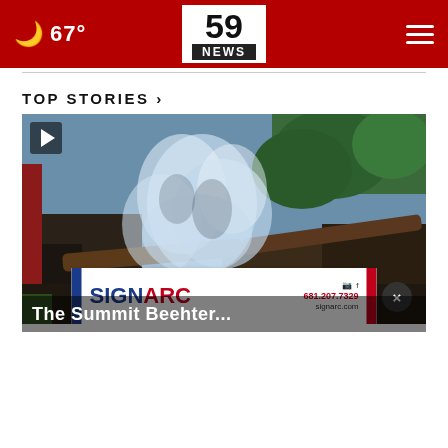🌙 67° | 59 NEWS
TOP STORIES ›
[Figure (screenshot): Video thumbnail showing smoke and debris from a fire scene with trees in background. A play button is visible in the top-left corner.]
The Summit Beehter...
[Figure (logo): SignArc advertisement banner with blue and red accent bars. Shows SignArc logo, Instagram and Facebook icons, phone number 681.207.7329, website signarc.com, and a close (x) button overlay.]